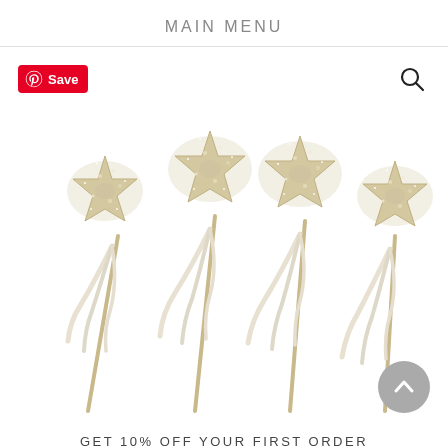MAIN MENU
[Figure (photo): Four glittery starfish wands with white ribbon streamers and wooden stick handles arranged side by side on a white background. A Pinterest 'Save' button is visible in the top left corner and a search icon in the top right. A grey scroll-up button is in the bottom right.]
GET 10% OFF YOUR FIRST ORDER